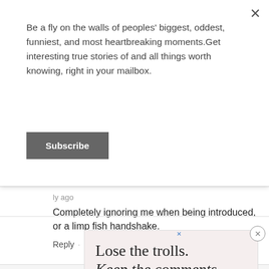Be a fly on the walls of peoples' biggest, oddest, funniest, and most heartbreaking moments.Get interesting true stories of and all things worth knowing, right in your mailbox.
Subscribe
ly ago
Completely ignoring me when being introduced, or a limp fish handshake.
Reply
[Figure (screenshot): OpenWeb footer bar with Terms, Privacy, Feedback links]
[Figure (screenshot): Advertisement banner with text 'Lose the trolls. Keep the comments.' on a light pink background with a close button]